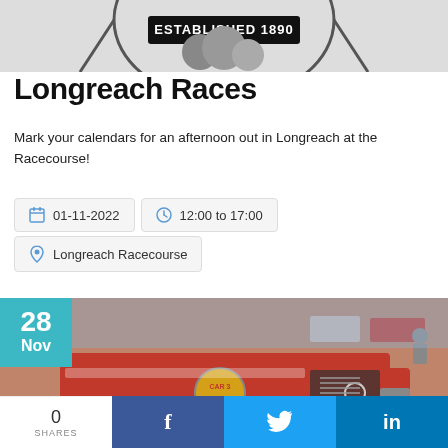[Figure (logo): Circular emblem/logo with 'ESTABLISHED 1890' text on a banner, black and white style]
Longreach Races
Mark your calendars for an afternoon out in Longreach at the Racecourse!
01-11-2022   12:00 to 17:00
Longreach Racecourse
[Figure (photo): Vintage red fire truck on display at an outdoor event, with a teal '28 Nov' date badge overlay in the top-left corner]
0 SHARES